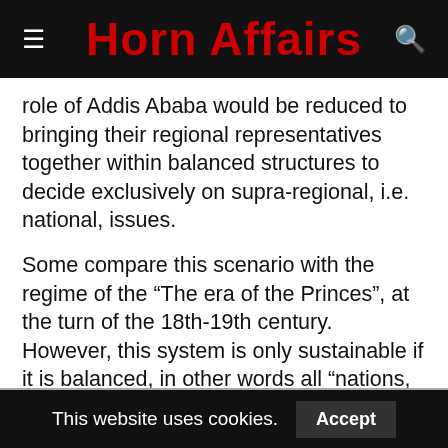Horn Affairs
role of Addis Ababa would be reduced to bringing their regional representatives together within balanced structures to decide exclusively on supra-regional, i.e. national, issues.
Some compare this scenario with the regime of the “The era of the Princes”, at the turn of the 18th-19th century. However, this system is only sustainable if it is balanced, in other words all “nations, nationalities and peoples”, and particularly their elites, feel properly represented. But, neither OPDO, nor ANDM, the essentially single parties in the two largest nations, can lay claim to such representativeness, having in particular never been accepted by these elites. The TPLF remains convinced,
This website uses cookies.